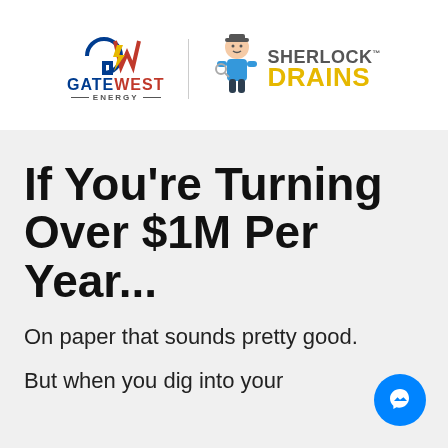[Figure (logo): Gate West Energy logo — stylized GW monogram with blue and red text saying GATE WEST ENERGY]
[Figure (logo): Sherlock Drains logo — cartoon plumber character with SHERLOCK in grey and DRAINS in yellow]
If You're Turning Over $1M Per Year...
On paper that sounds pretty good.
But when you dig into your